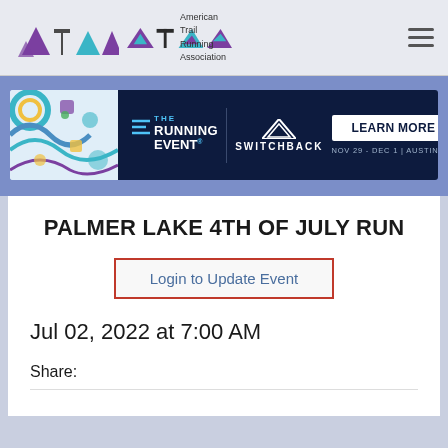[Figure (logo): American Trail Running Association (ATRA) logo with mountain/triangle shapes in purple and teal, with text 'American Trail Running Association']
[Figure (infographic): Advertisement banner for The Running Event and Switchback, with 'LEARN MORE' button, NOV 29 - DEC 1 | AUSTIN, TX]
PALMER LAKE 4TH OF JULY RUN
Login to Update Event
Jul 02, 2022 at 7:00 AM
Share: